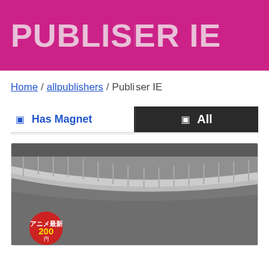PUBLISER IE
Home / allpublishers / Publiser IE
Has Magnet  All
[Figure (photo): A racetrack/road image with a curved guardrail, viewed from above. A red circular badge is visible in the lower left corner with text.]